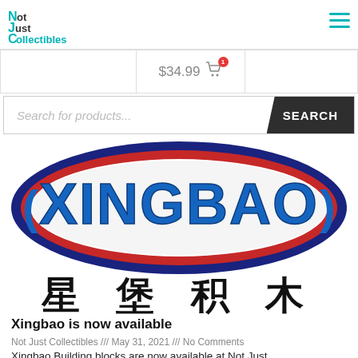Not Just Collectibles
$34.99 [cart with 1 item]
Search for products...  SEARCH
[Figure (logo): Xingbao brand logo — blue oval with red swoosh, 'XINGBAO' in blue block 3D letters, and Chinese characters 星堡积木 below]
Xingbao is now available
Not Just Collectibles /// May 31, 2021 /// No Comments
Xingbao Building blocks are now available at Not Just...